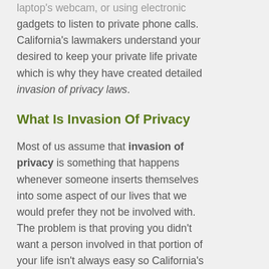laptop's webcam, or using electronic gadgets to listen to private phone calls. California's lawmakers understand your desired to keep your private life private which is why they have created detailed invasion of privacy laws.
What Is Invasion Of Privacy
Most of us assume that invasion of privacy is something that happens whenever someone inserts themselves into some aspect of our lives that we would prefer they not be involved with. The problem is that proving you didn't want a person involved in that portion of your life isn't always easy so California's lawmakers tried to create a list of actions